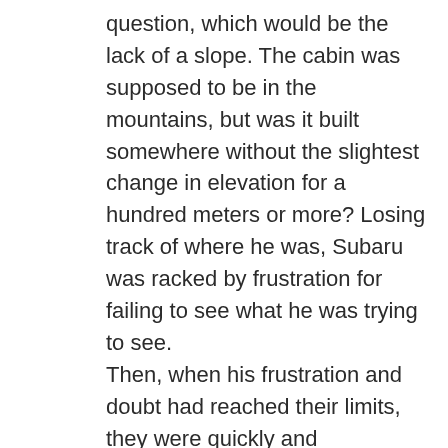question, which would be the lack of a slope. The cabin was supposed to be in the mountains, but was it built somewhere without the slightest change in elevation for a hundred meters or more? Losing track of where he was, Subaru was racked by frustration for failing to see what he was trying to see.
Then, when his frustration and doubt had reached their limits, they were quickly and unexpectedly shattered.

Where the trees opened up, suddenly clearing his line of sight, Subaru skidded to a stop. The pavement, if it could still be called pavement in spite of the ragged condition it was in, was evidence that there were people frequently passing through here. And, more importantly, the rows of houses visible in the distance further indicated that there were people